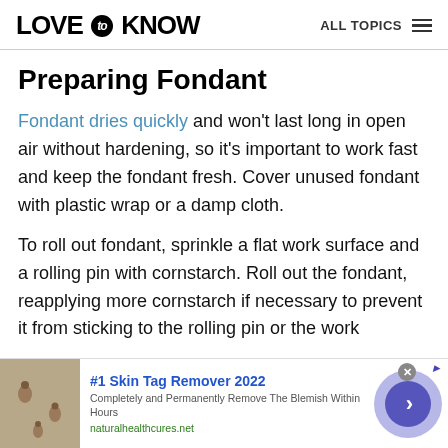LOVE to KNOW  ALL TOPICS
Preparing Fondant
Fondant dries quickly and won't last long in open air without hardening, so it's important to work fast and keep the fondant fresh. Cover unused fondant with plastic wrap or a damp cloth.
To roll out fondant, sprinkle a flat work surface and a rolling pin with cornstarch. Roll out the fondant, reapplying more cornstarch if necessary to prevent it from sticking to the rolling pin or the work
[Figure (photo): Advertisement banner: skin tag photo on left, text '#1 Skin Tag Remover 2022 - Completely and Permanently Remove The Blemish Within Hours - naturalhealthcures.net', with arrow button on right]